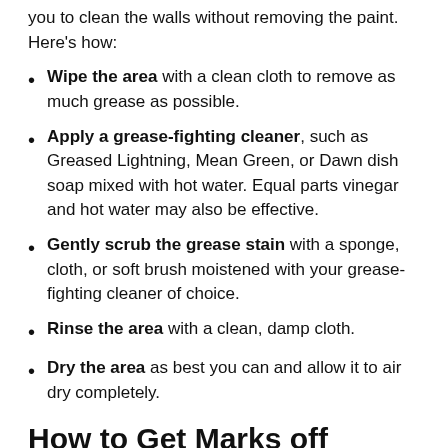you to clean the walls without removing the paint. Here's how:
Wipe the area with a clean cloth to remove as much grease as possible.
Apply a grease-fighting cleaner, such as Greased Lightning, Mean Green, or Dawn dish soap mixed with hot water. Equal parts vinegar and hot water may also be effective.
Gently scrub the grease stain with a sponge, cloth, or soft brush moistened with your grease-fighting cleaner of choice.
Rinse the area with a clean, damp cloth.
Dry the area as best you can and allow it to air dry completely.
How to Get Marks off Wallpaper
Many types of wallpaper are made of vinyl, a